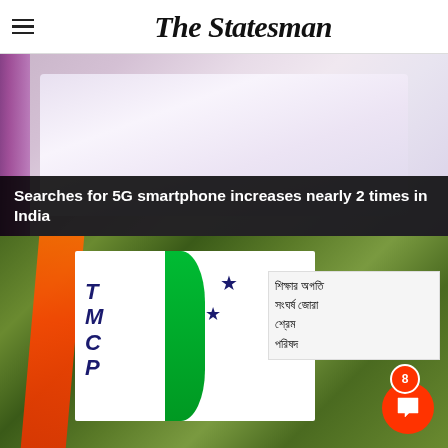The Statesman
[Figure (photo): Photo of a smartphone or tablet device with pink/purple background, partially cropped]
Searches for 5G smartphone increases nearly 2 times in India
[Figure (photo): Photo of TMC (Trinamool Congress Party) flags including an orange flag and TMC flag with Bengali text, with trees and building in background. A red circular chat button with notification badge showing '8' is visible in the bottom right.]